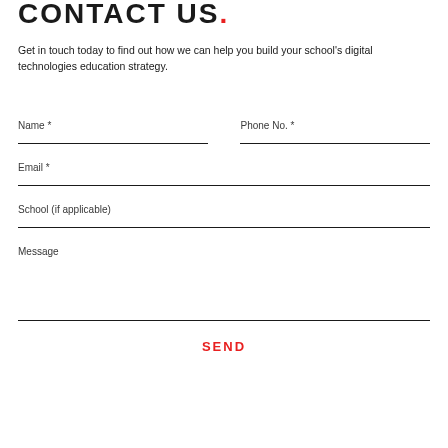CONTACT US.
Get in touch today to find out how we can help you build your school's digital technologies education strategy.
Name *
Phone No. *
Email *
School (if applicable)
Message
SEND